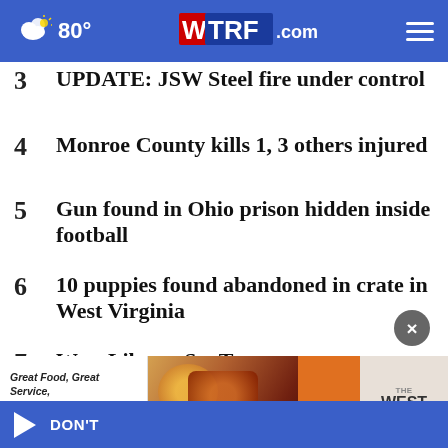80° WTRF.com
3  UPDATE: JSW Steel fire under control
4  Monroe County kills 1, 3 others injured
5  Gun found in Ohio prison hidden inside football
6  10 puppies found abandoned in crate in West Virginia
7  West Liberty Set To Open Season Thursday
[Figure (screenshot): Advertisement banner: Great Food, Great Service, Live Entertainment — Order Now, with food photo and The West Sports Bar logo]
DON'T